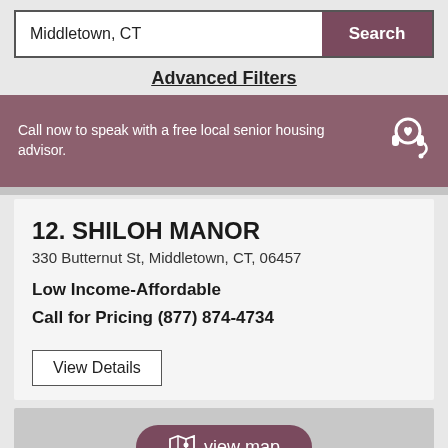Middletown, CT
Search
Advanced Filters
Call now to speak with a free local senior housing advisor.
12. SHILOH MANOR
330 Butternut St, Middletown, CT, 06457
Low Income-Affordable
Call for Pricing (877) 874-4734
View Details
view map